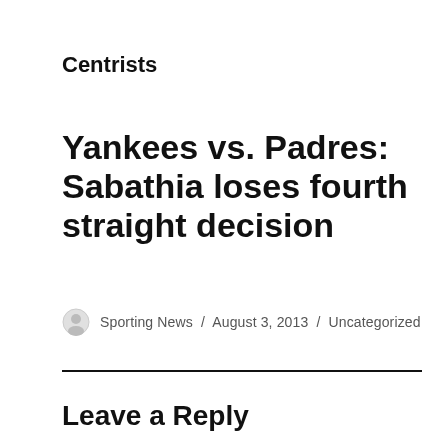Centrists
Yankees vs. Padres: Sabathia loses fourth straight decision
Sporting News / August 3, 2013 / Uncategorized
Leave a Reply